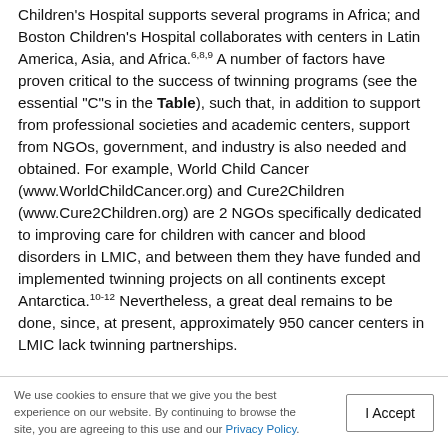Children's Hospital supports several programs in Africa; and Boston Children's Hospital collaborates with centers in Latin America, Asia, and Africa.6,8,9 A number of factors have proven critical to the success of twinning programs (see the essential "C"s in the Table), such that, in addition to support from professional societies and academic centers, support from NGOs, government, and industry is also needed and obtained. For example, World Child Cancer (www.WorldChildCancer.org) and Cure2Children (www.Cure2Children.org) are 2 NGOs specifically dedicated to improving care for children with cancer and blood disorders in LMIC, and between them they have funded and implemented twinning projects on all continents except Antarctica.10-12 Nevertheless, a great deal remains to be done, since, at present, approximately 950 cancer centers in LMIC lack twinning partnerships.
We use cookies to ensure that we give you the best experience on our website. By continuing to browse the site, you are agreeing to this use and our Privacy Policy.